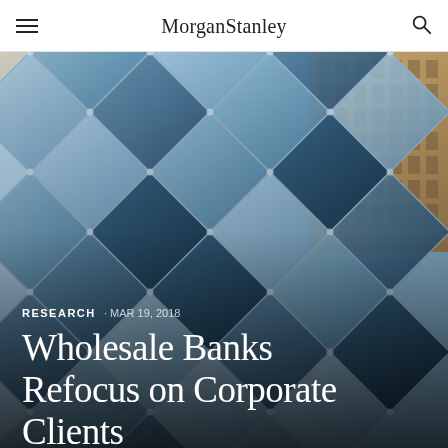Morgan Stanley
[Figure (photo): Close-up architectural photograph of a modern building facade featuring geometric diamond-shaped glass panels in shades of blue and grey, with a portion of a classical building visible in the upper right corner.]
RESEARCH · MAR 19, 2018
Wholesale Banks Refocus on Corporate Clients